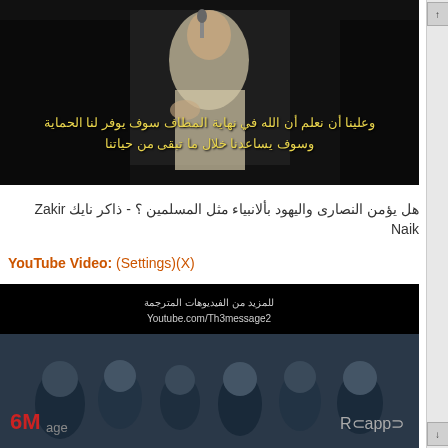[Figure (screenshot): Video screenshot showing a man in white robe speaking at a microphone with Arabic subtitles in yellow text on dark background]
هل يؤمن النصارى واليهود بألانبياء مثل المسلمين ؟ - ذاكر نايك Zakir Naik
YouTube Video: (Settings)(X)
[Figure (screenshot): Video screenshot showing a crowd of people with Arabic overlay text and YouTube.com/Th3message2 watermark]